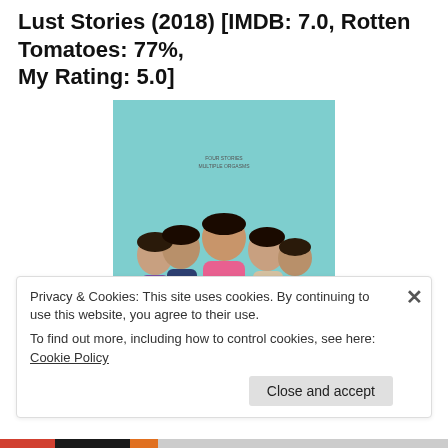Lust Stories (2018) [IMDB: 7.0, Rotten Tomatoes: 77%, My Rating: 5.0]
[Figure (photo): Movie poster for Lust Stories (2018) showing five women against a teal and cream background with the title 'LUSTstories' in red and brown text at the bottom.]
Privacy & Cookies: This site uses cookies. By continuing to use this website, you agree to their use.
To find out more, including how to control cookies, see here: Cookie Policy